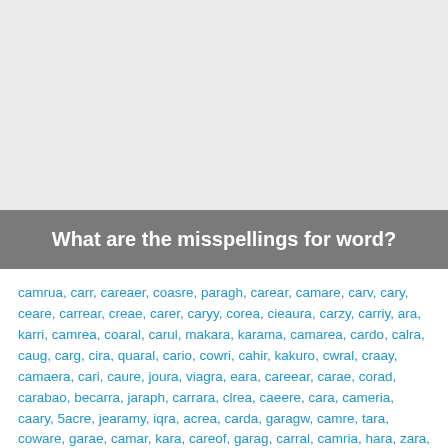What are the misspellings for word?
camrua, carr, careaer, coasre, paragh, carear, camare, carv, cary, ceare, carrear, creae, carer, caryy, corea, cieaura, carzy, carriy, ara, karri, camrea, coaral, carul, makara, karama, camarea, cardo, calra, caug, carg, cira, quaral, cario, cowri, cahir, kakuro, cwral, craay, camaera, cari, caure, joura, viagra, eara, careear, carae, corad, carabao, becarra, jaraph, carrara, clrea, caeere, cara, cameria, caary, 5acre, jearamy, iqra, acrea, carda, garagw, camre, tara, coware, garae, camar, kara, careof, garag, carral, camria, hara, zara, carsar, 2acre, cana, cargi, koera, carsh, kiera, capa, carma, casre, cadrae, goria, fara, sakrua, 20car, cama, corba, canari, cvare, camra, camerra, quare, carew, carraer, caart, carema